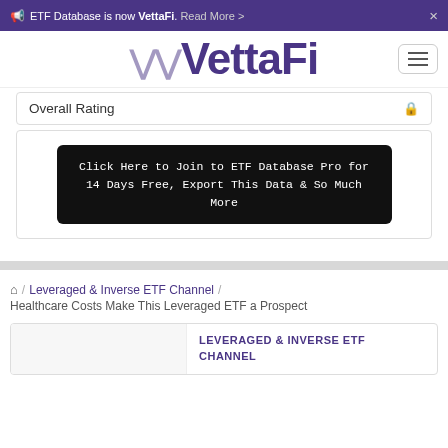ETF Database is now VettaFi. Read More >  ×
[Figure (logo): VettaFi logo in purple with decorative V lines]
Overall Rating 🔒
Click Here to Join to ETF Database Pro for 14 Days Free, Export This Data & So Much More
🏠 / Leveraged & Inverse ETF Channel / Healthcare Costs Make This Leveraged ETF a Prospect
LEVERAGED & INVERSE ETF CHANNEL